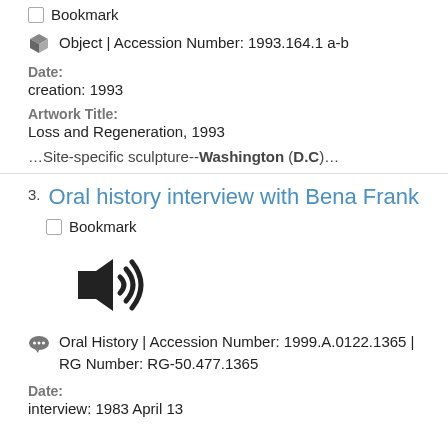Bookmark
Object | Accession Number: 1993.164.1 a-b
Date:
creation: 1993
Artwork Title:
Loss and Regeneration, 1993
…Site-specific sculpture--Washington (D.C)…
Oral history interview with Bena Frank
Bookmark
[Figure (illustration): Audio/speaker icon indicating an oral history audio recording]
Oral History | Accession Number: 1999.A.0122.1365 | RG Number: RG-50.477.1365
Date:
interview: 1983 April 13